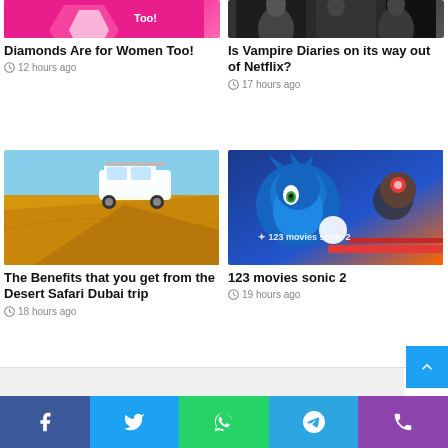[Figure (photo): Pink background image with diamonds - Diamonds Are for Women Too!]
Diamonds Are for Women Too!
12 hours ago
[Figure (photo): Dark moody image related to Vampire Diaries Netflix show]
Is Vampire Diaries on its way out of Netflix?
17 hours ago
[Figure (photo): White SUV on golden sand dune, desert safari scene]
The Benefits that you get from the Desert Safari Dubai trip
18 hours ago
[Figure (photo): Sonic the Hedgehog movie poster with text 123 movies sonic 2]
123 movies sonic 2
19 hours ago
Facebook Twitter WhatsApp Telegram Phone